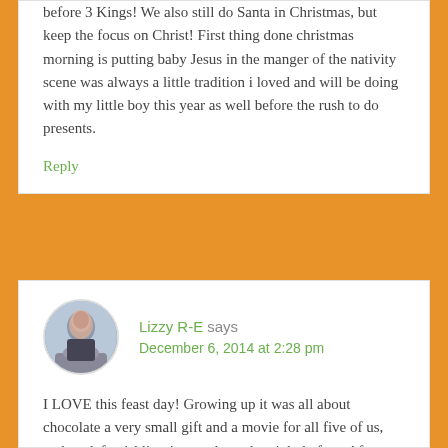before 3 Kings! We also still do Santa in Christmas, but keep the focus on Christ! First thing done christmas morning is putting baby Jesus in the manger of the nativity scene was always a little tradition i loved and will be doing with my little boy this year as well before the rush to do presents.
Reply
Lizzy R-E says December 6, 2014 at 2:28 pm
I LOVE this feast day! Growing up it was all about chocolate a very small gift and a movie for all five of us, and we left wishlists in our shoes the night before. After getting married, and a couple stints